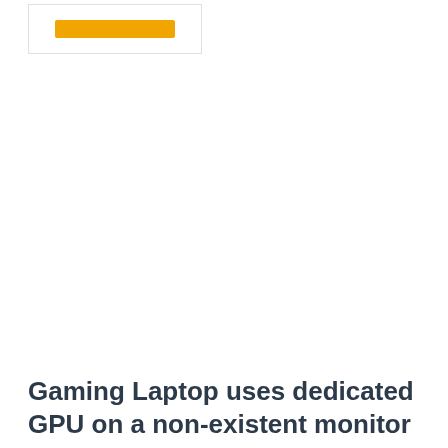[Figure (screenshot): Partial screenshot showing a small image box with an orange/yellow button or bar element, likely from a web page or forum post thumbnail]
Gaming Laptop uses dedicated GPU on a non-existent monitor